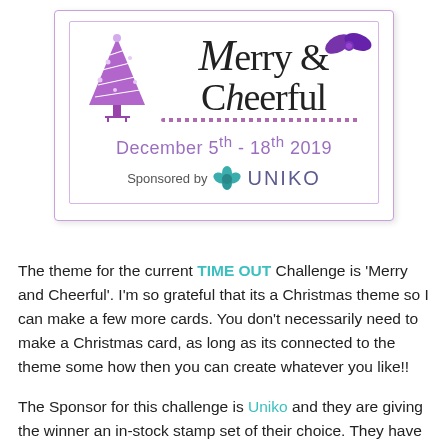[Figure (illustration): Merry & Cheerful challenge banner card with purple Christmas tree, holly decoration, title text, date 'December 5th - 18th 2019', and 'Sponsored by UNIKO' line inside a purple-bordered card.]
The theme for the current TIME OUT Challenge is 'Merry and Cheerful'. I'm so grateful that its a Christmas theme so I can make a few more cards. You don't necessarily need to make a Christmas card, as long as its connected to the theme some how then you can create whatever you like!!
The Sponsor for this challenge is Uniko and they are giving the winner an in-stock stamp set of their choice. They have